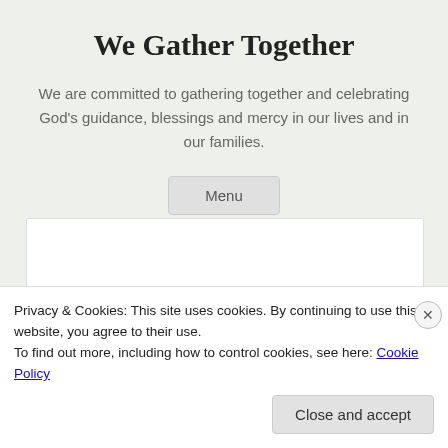We Gather Together
We are committed to gathering together and celebrating God's guidance, blessings and mercy in our lives and in our families.
Menu
[Figure (photo): White card with a partial view of a person's head (dark hair) at the bottom left corner of the card area.]
Privacy & Cookies: This site uses cookies. By continuing to use this website, you agree to their use.
To find out more, including how to control cookies, see here: Cookie Policy
Close and accept